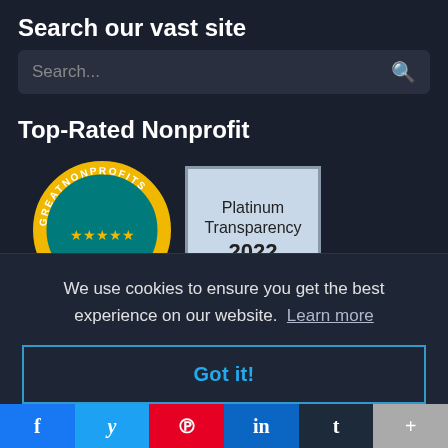Search our vast site
Search...
Top-Rated Nonprofit
[Figure (logo): Great Nonprofits 2021 Top-Rated circular badge with gold/yellow and teal colors]
[Figure (logo): Platinum Transparency 2022 badge - light blue/gray square badge]
We use cookies to ensure you get the best experience on our website.  Learn more
Got it!
f  y  p  in  t  +